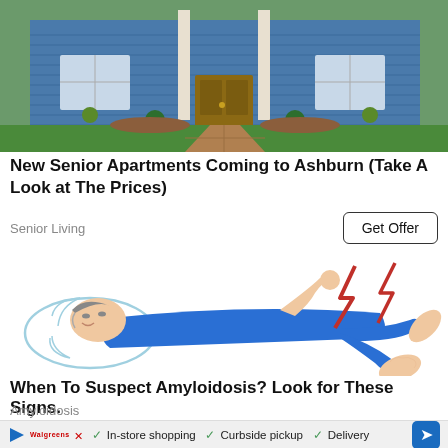[Figure (photo): Photo of a suburban house with blue siding, green lawn, brick pathway, and flowering plants near the front entrance]
New Senior Apartments Coming to Ashburn (Take A Look at The Prices)
Senior Living
Get Offer
[Figure (illustration): Illustration of a person lying on their back in blue pajamas with a pained expression, holding their foot/ankle, with red lightning bolts indicating pain]
When To Suspect Amyloidosis? Look for These Signs.
Amyloidosis
✓ In-store shopping  ✓ Curbside pickup  ✓ Delivery